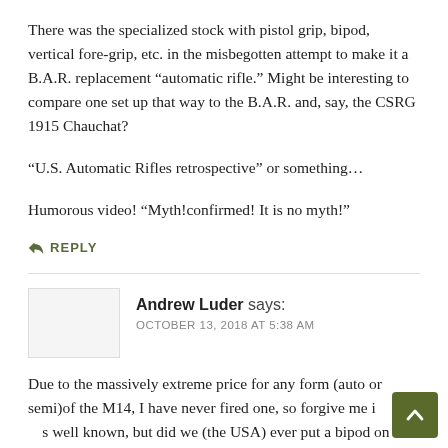There was the specialized stock with pistol grip, bipod, vertical fore-grip, etc. in the misbegotten attempt to make it a B.A.R. replacement “automatic rifle.” Might be interesting to compare one set up that way to the B.A.R. and, say, the CSRG 1915 Chauchat?
“U.S. Automatic Rifles retrospective” or something…
Humorous video! “Myth!confirmed! It is no myth!”
← REPLY
Andrew Luder says:
OCTOBER 13, 2018 AT 5:38 AM
Due to the massively extreme price for any form (auto or semi)of the M14, I have never fired one, so forgive me if this is well known, but did we (the USA) ever put a bipod on the M14? From my experience with shooting an FAL (Austrian STG58)